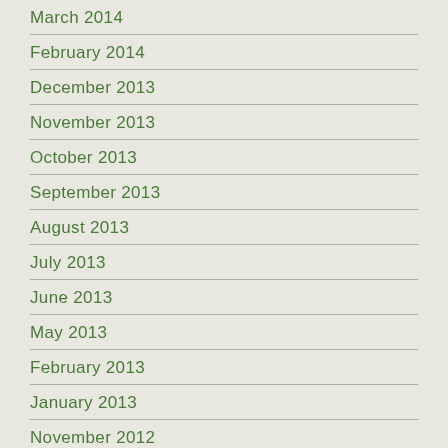March 2014
February 2014
December 2013
November 2013
October 2013
September 2013
August 2013
July 2013
June 2013
May 2013
February 2013
January 2013
November 2012
October 2012
August 2012